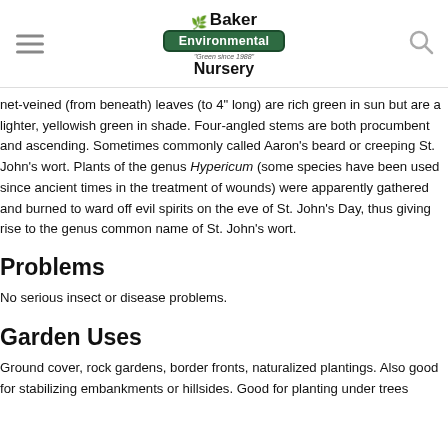Baker Environmental Nursery
net-veined (from beneath) leaves (to 4" long) are rich green in sun but are a lighter, yellowish green in shade. Four-angled stems are both procumbent and ascending. Sometimes commonly called Aaron’s beard or creeping St. John’s wort. Plants of the genus Hypericum (some species have been used since ancient times in the treatment of wounds) were apparently gathered and burned to ward off evil spirits on the eve of St. John’s Day, thus giving rise to the genus common name of St. John’s wort.
Problems
No serious insect or disease problems.
Garden Uses
Ground cover, rock gardens, border fronts, naturalized plantings. Also good for stabilizing embankments or hillsides. Good for planting under trees